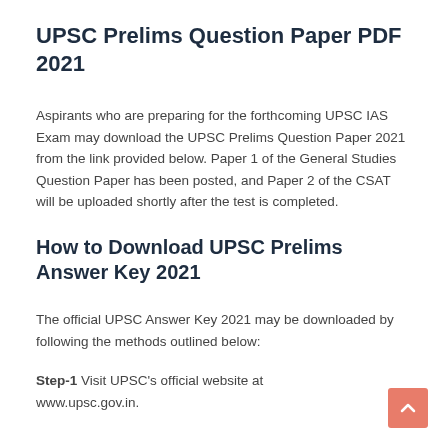UPSC Prelims Question Paper PDF 2021
Aspirants who are preparing for the forthcoming UPSC IAS Exam may download the UPSC Prelims Question Paper 2021 from the link provided below. Paper 1 of the General Studies Question Paper has been posted, and Paper 2 of the CSAT will be uploaded shortly after the test is completed.
How to Download UPSC Prelims Answer Key 2021
The official UPSC Answer Key 2021 may be downloaded by following the methods outlined below:
Step-1 Visit UPSC's official website at www.upsc.gov.in.